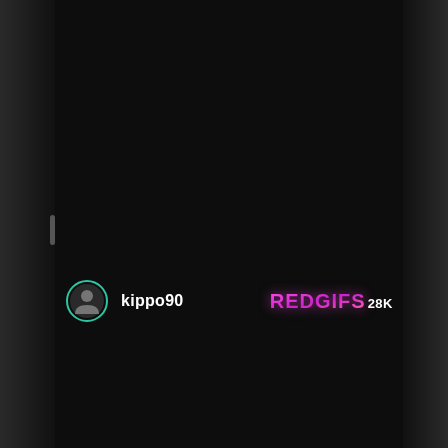[Figure (screenshot): Dark mobile app interface screenshot showing a nearly black background with a user avatar and username 'kippo90' on the left and the RedGifs logo with '28K' count on the right, positioned in the lower third of the screen.]